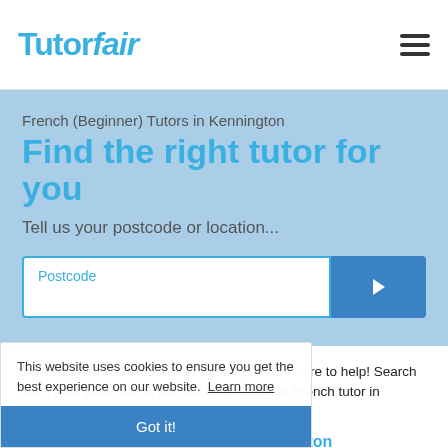Tutorfair
French (Beginner) Tutors in Kennington
Find the right tutor for you
Tell us your postcode or location...
Our Beginner French tutors in Kennington are here to help! Search using your postcode to find the best Beginner French tutor in Kennington.
20 Beginner French Tutors in Kennington
Monie T
This website uses cookies to ensure you get the best experience on our website. Learn more
Got it!